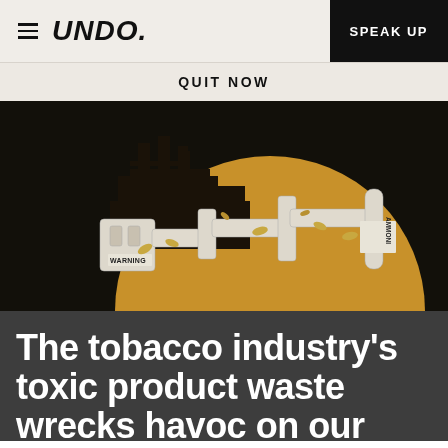UNDO. | SPEAK UP
QUIT NOW
[Figure (illustration): Dark illustrated graphic showing an industrial factory silhouette against a large golden/amber semicircle (sun), with cigarette butts and warning-label pipes in the foreground on a black background. Text fragments visible include WARNING and AMMONI.]
The tobacco industry's toxic product waste wrecks havoc on our